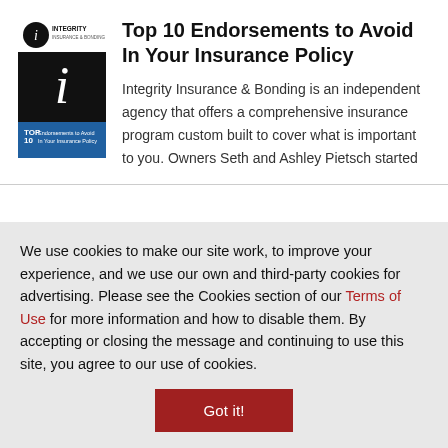[Figure (illustration): Book cover for 'Top 10 Endorsements to Avoid In Your Insurance Policy' by Integrity Insurance & Bonding, showing a dark cover with a stylized 'i' logo and blue banner at the bottom]
Top 10 Endorsements to Avoid In Your Insurance Policy
Integrity Insurance & Bonding is an independent agency that offers a comprehensive insurance program custom built to cover what is important to you. Owners Seth and Ashley Pietsch started
We use cookies to make our site work, to improve your experience, and we use our own and third-party cookies for advertising. Please see the Cookies section of our Terms of Use for more information and how to disable them. By accepting or closing the message and continuing to use this site, you agree to our use of cookies.
Got it!